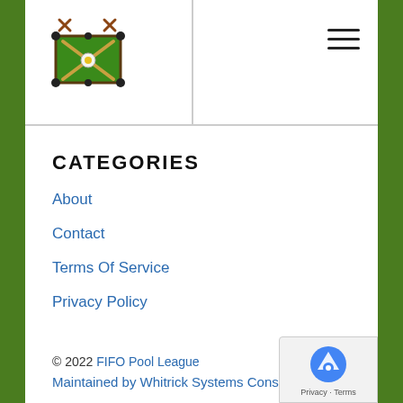[Figure (logo): FIFO Pool League logo — green billiard table with crossed cue sticks and a ball, with X marks above]
FIFO Pool League navigation header with hamburger menu icon
CATEGORIES
About
Contact
Terms Of Service
Privacy Policy
© 2022 FIFO Pool League
Maintained by Whitrick Systems Consulring